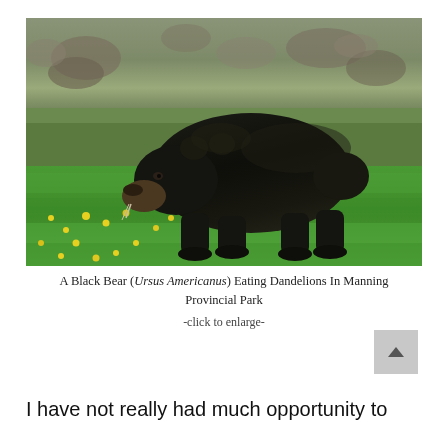[Figure (photo): A large black bear (Ursus americanus) standing in a green meadow with yellow dandelions, grazing. Rocky hillside with grass and scrubby vegetation in the background. Manning Provincial Park.]
A Black Bear (Ursus Americanus) Eating Dandelions In Manning Provincial Park
-click to enlarge-
I have not really had much opportunity to